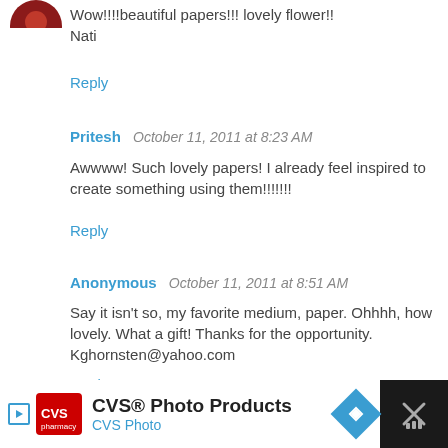[Figure (photo): Partial circular avatar image (red/dark) at top left]
Wow!!!!beautiful papers!!! lovely flower!! Nati
Reply
Pritesh   October 11, 2011 at 8:23 AM
Awwww! Such lovely papers! I already feel inspired to create something using them!!!!!!!
Reply
Anonymous   October 11, 2011 at 8:51 AM
Say it isn't so, my favorite medium, paper. Ohhhh, how lovely. What a gift! Thanks for the opportunity. Kghornsten@yahoo.com
Reply
[Figure (illustration): Sun emoji/avatar icon with smiley face]
Leanne   October 11, 2011 at 8:51 AM
[Figure (screenshot): CVS Photo Products advertisement banner at bottom of page]